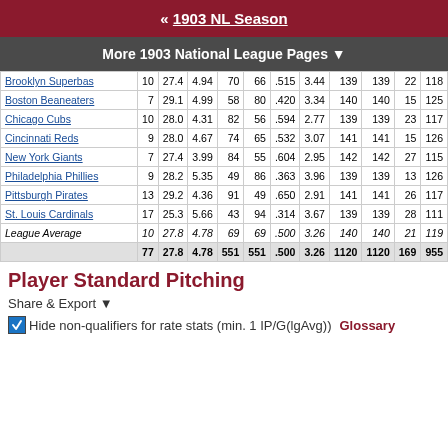« 1903 NL Season
More 1903 National League Pages ▼
| Team |  |  |  |  |  |  |  |  |  |  |
| --- | --- | --- | --- | --- | --- | --- | --- | --- | --- | --- |
| Brooklyn Superbas | 10 | 27.4 | 4.94 | 70 | 66 | .515 | 3.44 | 139 | 139 | 22 | 118 |
| Boston Beaneaters | 7 | 29.1 | 4.99 | 58 | 80 | .420 | 3.34 | 140 | 140 | 15 | 125 |
| Chicago Cubs | 10 | 28.0 | 4.31 | 82 | 56 | .594 | 2.77 | 139 | 139 | 23 | 117 |
| Cincinnati Reds | 9 | 28.0 | 4.67 | 74 | 65 | .532 | 3.07 | 141 | 141 | 15 | 126 |
| New York Giants | 7 | 27.4 | 3.99 | 84 | 55 | .604 | 2.95 | 142 | 142 | 27 | 115 |
| Philadelphia Phillies | 9 | 28.2 | 5.35 | 49 | 86 | .363 | 3.96 | 139 | 139 | 13 | 126 |
| Pittsburgh Pirates | 13 | 29.2 | 4.36 | 91 | 49 | .650 | 2.91 | 141 | 141 | 26 | 117 |
| St. Louis Cardinals | 17 | 25.3 | 5.66 | 43 | 94 | .314 | 3.67 | 139 | 139 | 28 | 111 |
| League Average | 10 | 27.8 | 4.78 | 69 | 69 | .500 | 3.26 | 140 | 140 | 21 | 119 |
|  | 77 | 27.8 | 4.78 | 551 | 551 | .500 | 3.26 | 1120 | 1120 | 169 | 955 |
Player Standard Pitching
Share & Export ▼
☑ Hide non-qualifiers for rate stats (min. 1 IP/G(lgAvg))  Glossary